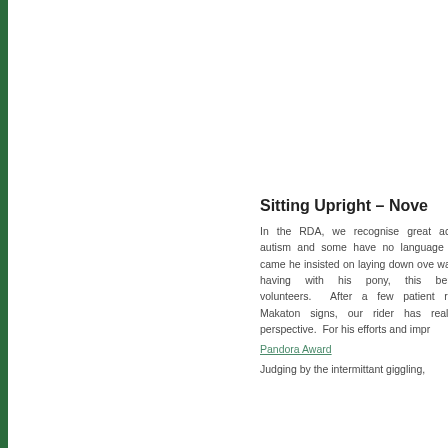Sitting Upright – Nove
In the RDA, we recognise great ach autism and some have no language a came he insisted on laying down ove was having with his pony, this bent volunteers.  After a few patient rid Makaton signs, our rider has really perspective.  For his efforts and impr
Pandora Award
Judging by the intermittant giggling,